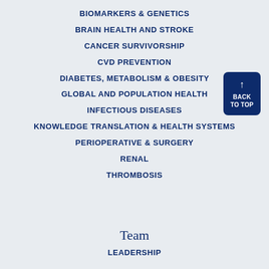BIOMARKERS & GENETICS
BRAIN HEALTH AND STROKE
CANCER SURVIVORSHIP
CVD PREVENTION
DIABETES, METABOLISM & OBESITY
GLOBAL AND POPULATION HEALTH
INFECTIOUS DISEASES
KNOWLEDGE TRANSLATION & HEALTH SYSTEMS
PERIOPERATIVE & SURGERY
RENAL
THROMBOSIS
Team
LEADERSHIP